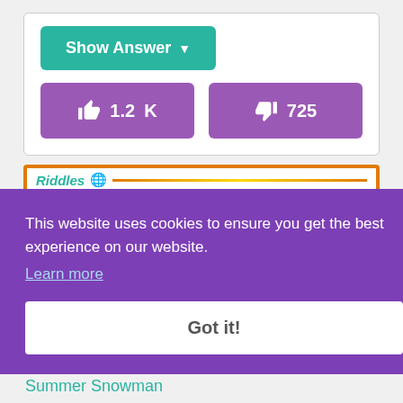[Figure (screenshot): Show Answer button (teal/green) with dropdown arrow, and two purple vote buttons showing thumbs up with 1.2K and thumbs down with 725]
[Figure (screenshot): Riddles.com branded image with dark brown background and orange border showing partial riddle text 'What two whole,']
This website uses cookies to ensure you get the best experience on our website.
Learn more
Got it!
Summer Snowman